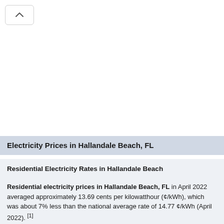Electricity Prices in Hallandale Beach, FL
Residential Electricity Rates in Hallandale Beach
Residential electricity prices in Hallandale Beach, FL in April 2022 averaged approximately 13.69 cents per kilowatthour (¢/kWh), which was about 7% less than the national average rate of 14.77 ¢/kWh (April 2022). [1]